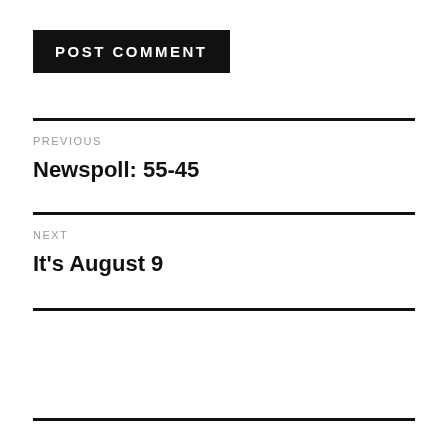POST COMMENT
PREVIOUS
Newspoll: 55-45
NEXT
It's August 9